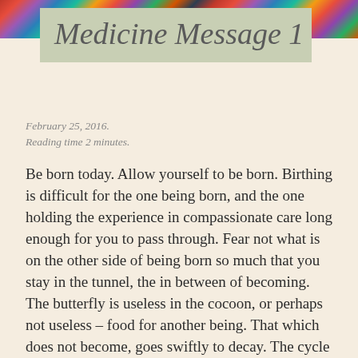[Figure (illustration): Colorful abstract decorative strip across the top of the page with vivid multicolored patterns]
Medicine Message 1
February 25, 2016.
Reading time 2 minutes.
Be born today. Allow yourself to be born. Birthing is difficult for the one being born, and the one holding the experience in compassionate care long enough for you to pass through. Fear not what is on the other side of being born so much that you stay in the tunnel, the in between of becoming. The butterfly is useless in the cocoon, or perhaps not useless – food for another being. That which does not become, goes swiftly to decay. The cycle must continue. It's not that you have to know better, you just have to remember better. It's not that time waits for no one, it's that you are time, and you've forgotten the depth of the part you play in